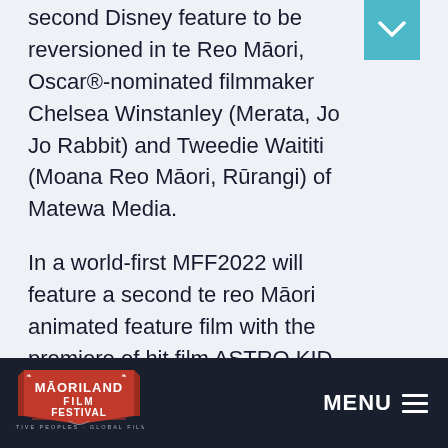second Disney feature to be reversioned in te Reo Māori, Oscar®-nominated filmmaker Chelsea Winstanley (Merata, Jo Jo Rabbit) and Tweedie Waititi (Moana Reo Māori, Rūrangi) of Matewa Media.
In a world-first MFF2022 will feature a second te reo Māori animated feature film with the premiere of hit film ASTRO KID or TAMA KAIĀTEA. This film has been translated and voiced by talent in Ōtaki and produced at Māoriland. It also features the voice of one of the stars of local people...
MĀORILAND FILM FESTIVAL — NATIVE PEOPLES · GLOBAL FILMS    MENU